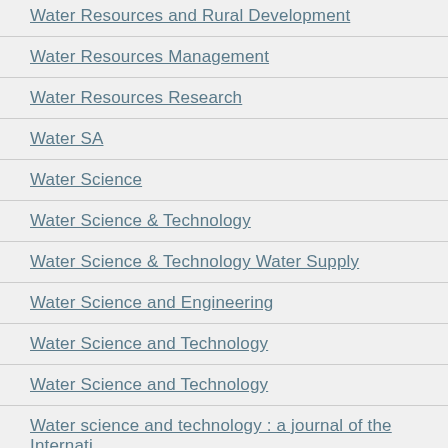Water Resources and Rural Development
Water Resources Management
Water Resources Research
Water SA
Water Science
Water Science & Technology
Water Science & Technology Water Supply
Water Science and Engineering
Water Science and Technology
Water Science and Technology
Water science and technology : a journal of the International Association on Water Pollution Research
Water Security